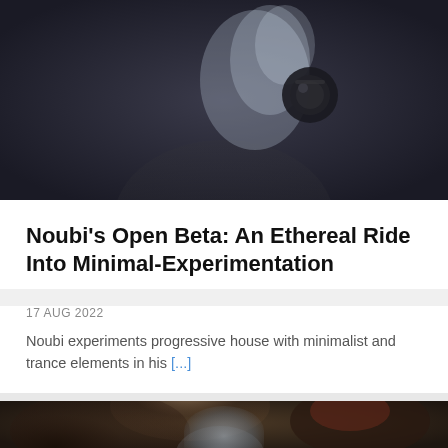[Figure (photo): Dark atmospheric photo of a person holding headphones against a dark background with light reflections]
Noubi's Open Beta: An Ethereal Ride Into Minimal-Experimentation
17 AUG 2022
Noubi experiments progressive house with minimalist and trance elements in his [...]
[Figure (photo): Close-up portrait of a woman with curly dark hair and red highlights, face partially visible, microphone in foreground]